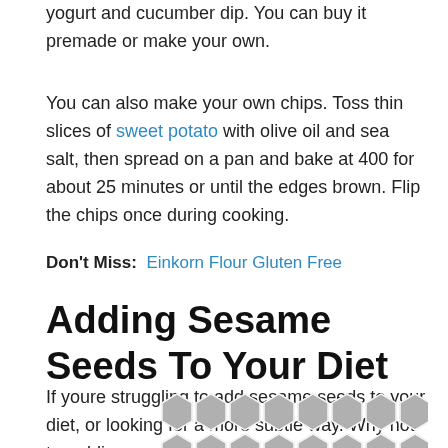yogurt and cucumber dip. You can buy it premade or make your own.
You can also make your own chips. Toss thin slices of sweet potato with olive oil and sea salt, then spread on a pan and bake at 400 for about 25 minutes or until the edges brown. Flip the chips once during cooking.
Don't Miss:  Einkorn Flour Gluten Free
Adding Sesame Seeds To Your Diet
If youre struggling to add sesame seeds to your diet, or looking for a more subtle way. Why not try adding sesame
[Figure (illustration): Geometric hexagon tile pattern in grey and white]